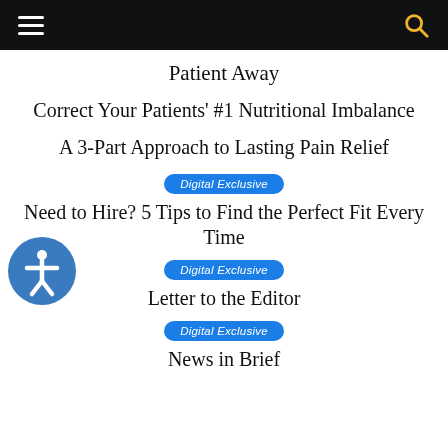Patient Away
Correct Your Patients' #1 Nutritional Imbalance
A 3-Part Approach to Lasting Pain Relief
Digital Exclusive
Need to Hire? 5 Tips to Find the Perfect Fit Every Time
Digital Exclusive
Letter to the Editor
Digital Exclusive
News in Brief